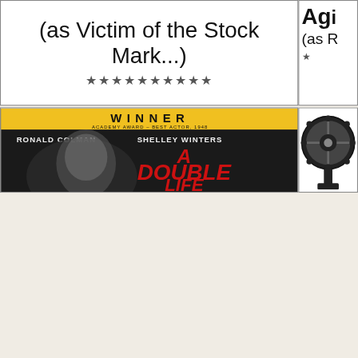(as Victim of the Stock Mark...)
★★★★★★★★★★
Ag... (as R...
★
[Figure (photo): Movie poster for 'A Double Life' featuring Ronald Colman and Shelley Winters. Yellow banner at top reads 'WINNER ACADEMY AWARD – BEST ACTOR, 1948'. Black and white dramatic portrait of actors.]
[Figure (illustration): Film reel icon, black and white circular reel graphic with sprocket holes and projector key.]